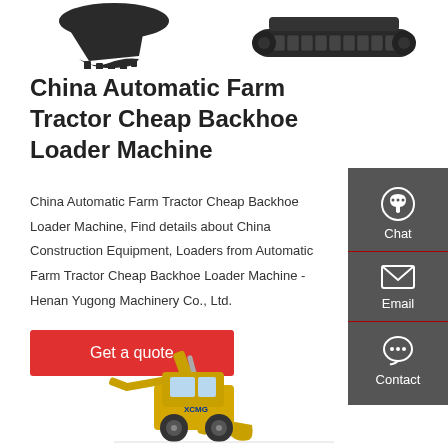[Figure (photo): Top portion showing excavator bucket and undercarriage/track unit against white background]
China Automatic Farm Tractor Cheap Backhoe Loader Machine
China Automatic Farm Tractor Cheap Backhoe Loader Machine, Find details about China Construction Equipment, Loaders from Automatic Farm Tractor Cheap Backhoe Loader Machine - Henan Yugong Machinery Co., Ltd.
[Figure (infographic): Dark grey sidebar with Chat (headset icon), Email (envelope icon), and Contact (speech bubble icon) buttons]
[Figure (photo): Button labeled Get a quote in red]
[Figure (photo): Bottom portion showing XCMG yellow backhoe loader machine]